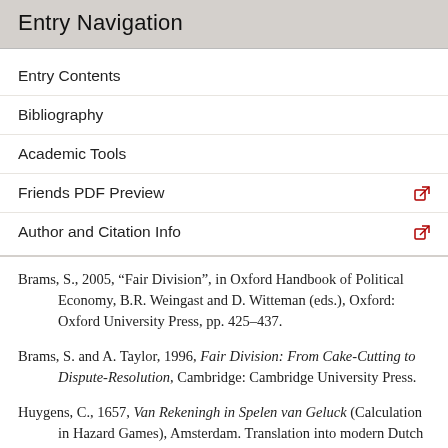Entry Navigation
Entry Contents
Bibliography
Academic Tools
Friends PDF Preview
Author and Citation Info
Brams, S., 2005, “Fair Division”, in Oxford Handbook of Political Economy, B.R. Weingast and D. Witteman (eds.), Oxford: Oxford University Press, pp. 425–437.
Brams, S. and A. Taylor, 1996, Fair Division: From Cake-Cutting to Dispute-Resolution, Cambridge: Cambridge University Press.
Huygens, C., 1657, Van Rekeningh in Spelen van Geluck (Calculation in Hazard Games), Amsterdam. Translation into modern Dutch by W. Kleijne,